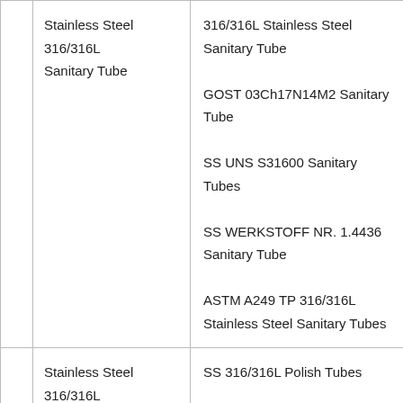|  | Stainless Steel 316/316L Sanitary Tube | 316/316L Stainless Steel Sanitary Tube
GOST 03Ch17N14M2 Sanitary Tube
SS UNS S31600 Sanitary Tubes
SS WERKSTOFF NR. 1.4436 Sanitary Tube
ASTM A249 TP 316/316L Stainless Steel Sanitary Tubes |
|  | Stainless Steel 316/316L Polish Tube | SS 316/316L Polish Tubes
316/316L SS Polish Tube
316/316L Stainless Steel Polish Tubes
SS UNS S31603 Polish Tube
SS WERKSTOFF |